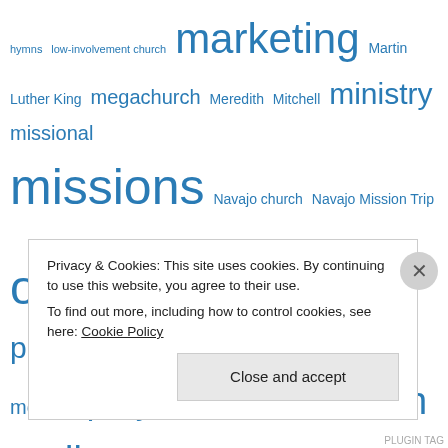hymns low-involvement church marketing Martin Luther King megachurch Meredith Mitchell ministry missional missions Navajo church Navajo Mission Trip outreach pareto pastor pastoring personal growth post-modern prayer Ramadan Role of Music seth godin small church small churches small groups southern baptist spiritual health Surprising Insights from the Unchurched taize tent revival thank before you bank Thom S Rainer tithing transforming the community turnaround churches
Privacy & Cookies: This site uses cookies. By continuing to use this website, you agree to their use. To find out more, including how to control cookies, see here: Cookie Policy
Close and accept